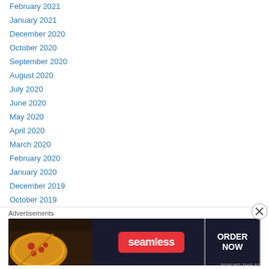February 2021
January 2021
December 2020
October 2020
September 2020
August 2020
July 2020
June 2020
May 2020
April 2020
March 2020
February 2020
January 2020
December 2019
October 2019
September 2019
August 2019
[Figure (other): Seamless food delivery advertisement banner with pizza image, Seamless logo, and ORDER NOW button]